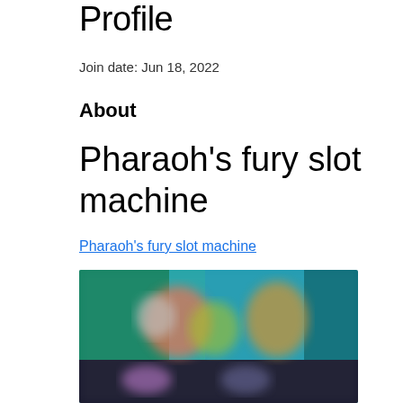Profile
Join date: Jun 18, 2022
About
Pharaoh's fury slot machine
Pharaoh's fury slot machine
[Figure (screenshot): Blurred screenshot of a game or app interface showing colorful animated characters on a dark teal/blue background, with additional blurred UI elements in the lower portion.]